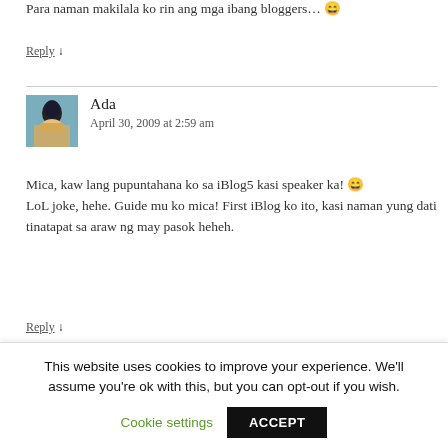Para naman makilala ko rin ang mga ibang bloggers... 😄
Reply ↓
Ada
April 30, 2009 at 2:59 am
Mica, kaw lang pupuntahana ko sa iBlog5 kasi speaker ka! 😄 LoL joke, hehe. Guide mu ko mica! First iBlog ko ito, kasi naman yung dati tinatapat sa araw ng may pasok heheh.
Reply ↓
This website uses cookies to improve your experience. We'll assume you're ok with this, but you can opt-out if you wish. Cookie settings ACCEPT